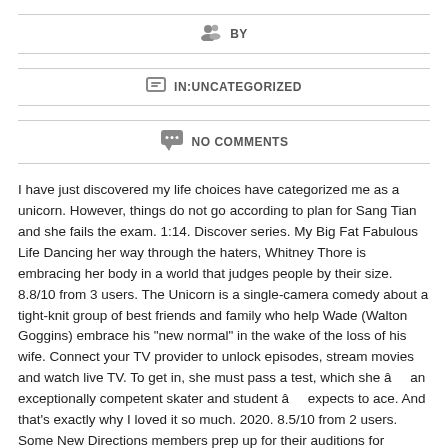BY
IN:UNCATEGORIZED
NO COMMENTS
I have just discovered my life choices have categorized me as a unicorn. However, things do not go according to plan for Sang Tian and she fails the exam. 1:14. Discover series. My Big Fat Fabulous Life Dancing her way through the haters, Whitney Thore is embracing her body in a world that judges people by their size. 8.8/10 from 3 users. The Unicorn is a single-camera comedy about a tight-knit group of best friends and family who help Wade (Walton Goggins) embrace his "new normal" in the wake of the loss of his wife. Connect your TV provider to unlock episodes, stream movies and watch live TV. To get in, she must pass a test, which she â an exceptionally competent skater and student â expects to ace. And that's exactly why I loved it so much. 2020. 8.5/10 from 2 users. Some New Directions members prep up for their auditions for specific parts of the music, Rachel wanting the role of Maria and Kurt and Blaine